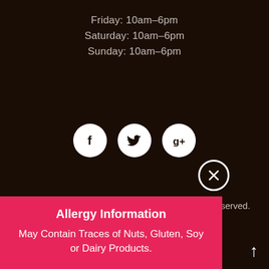Friday: 10am-6pm
Saturday: 10am-6pm
Sunday: 10am-6pm
[Figure (other): Three social media icon circles: Facebook (f), Twitter (bird), Google+ (g+)]
2022 Sweet Cascades Chocolatier. All Rights Reserved.
design.
Allergy Information
May Contain Traces of Nuts, Gluten, Soy or Dairy Products.